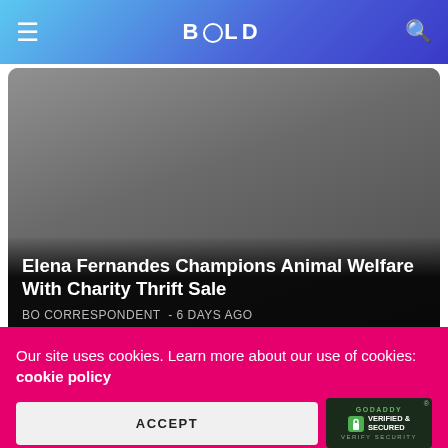BOLD
[Figure (photo): Article card with photo of Elena Fernandes, overlaid with article title and metadata]
Elena Fernandes Champions Animal Welfare With Charity Thrift Sale
BO CORRESPONDENT  - 6 DAYS AGO
Related News
Our site uses cookies. Learn more about our use of cookies: cookie policy
ACCEPT